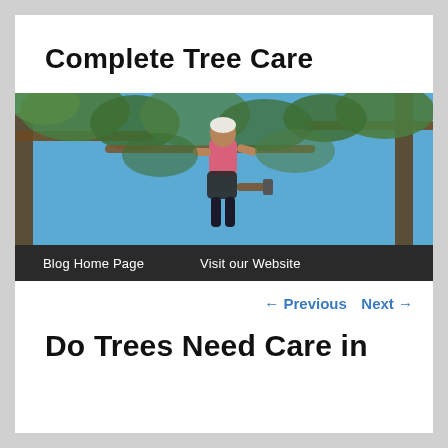Complete Tree Care
[Figure (photo): A tree care worker in a pink shirt and safety harness using equipment high up in a tree, with blue sky and green leafy branches in the background.]
Blog Home Page    Visit our Website
← Previous    Next →
Do Trees Need Care in